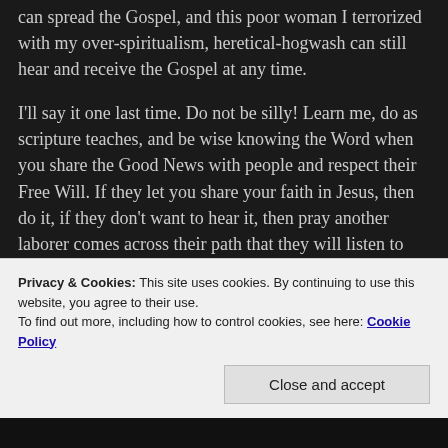can spread the Gospel, and this poor woman I terrorized with my over-spiritualism, heretical-hogwash can still hear and receive the Gospel at any time.
I'll say it one last time. Do not be silly! Learn me, do as scripture teaches, and be wise knowing the Word when you share the Good News with people and respect their Free Will. If they let you share your faith in Jesus, then do it, if they don't want to hear it, then pray another laborer comes across their path that they will listen to one day and pray that God opens their eyes and invades their heart and they either comeback to Jesus or become born-again!
Privacy & Cookies: This site uses cookies. By continuing to use this website, you agree to their use.
To find out more, including how to control cookies, see here: Cookie Policy
Close and accept